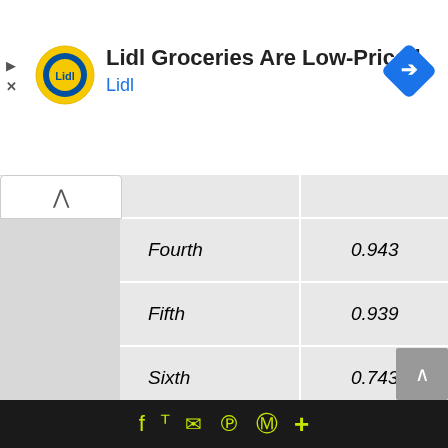[Figure (infographic): Lidl advertisement banner with Lidl logo (yellow circle with Lidl branding), headline 'Lidl Groceries Are Low-Priced', subtext 'Lidl' in blue, and a blue navigation diamond icon on the right. Small play and X icons on the far left.]
|  |  |
| --- | --- |
| Fourth | 0.943 |
| Fifth | 0.939 |
| Sixth | 0.743 |
| Reverse | 4.531 |
| Final drive | 4.813
(1,2,3,&4) |
f  🐦  ✉  ℗  ©  +